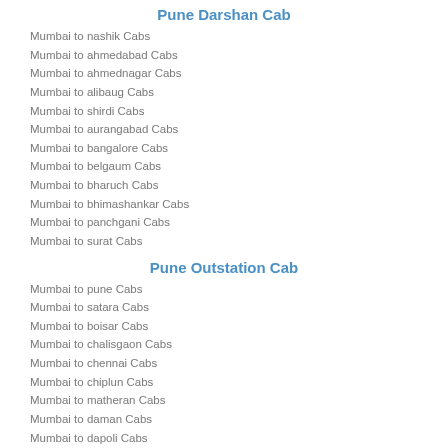Pune Darshan Cab
Mumbai to nashik Cabs
Mumbai to ahmedabad Cabs
Mumbai to ahmednagar Cabs
Mumbai to alibaug Cabs
Mumbai to shirdi Cabs
Mumbai to aurangabad Cabs
Mumbai to bangalore Cabs
Mumbai to belgaum Cabs
Mumbai to bharuch Cabs
Mumbai to bhimashankar Cabs
Mumbai to panchgani Cabs
Mumbai to surat Cabs
Pune Outstation Cab
Mumbai to pune Cabs
Mumbai to satara Cabs
Mumbai to boisar Cabs
Mumbai to chalisgaon Cabs
Mumbai to chennai Cabs
Mumbai to chiplun Cabs
Mumbai to matheran Cabs
Mumbai to daman Cabs
Mumbai to dapoli Cabs
Mumbai to dharwad Cabs
Mumbai to dhule Cabs
Mumbai to dombivli Cabs
Mumbai Darshan Cab
Mumbai to ganpatipule Cabs
Mumbai to goa Cabs
Mumbai to sangli Cabs